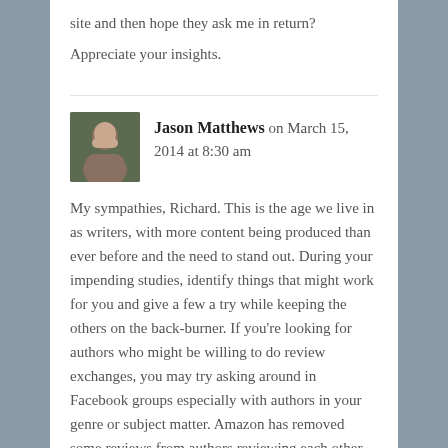site and then hope they ask me in return?
Appreciate your insights.
Jason Matthews on March 15, 2014 at 8:30 am
My sympathies, Richard. This is the age we live in as writers, with more content being produced than ever before and the need to stand out. During your impending studies, identify things that might work for you and give a few a try while keeping the others on the back-burner. If you're looking for authors who might be willing to do review exchanges, you may try asking around in Facebook groups especially with authors in your genre or subject matter. Amazon has removed some reviews from authors reviewing each other,